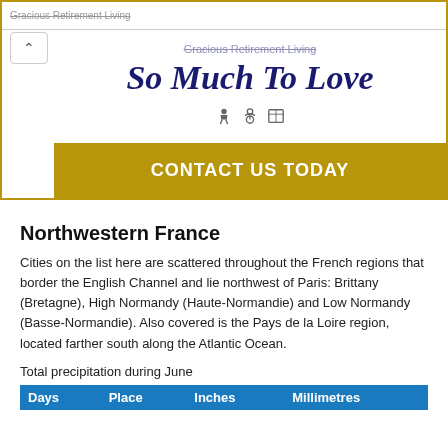[Figure (infographic): Advertisement for Gracious Retirement Living showing 'So Much To Love' headline with accessibility icons and a gold 'CONTACT US TODAY' call-to-action bar]
Northwestern France
Cities on the list here are scattered throughout the French regions that border the English Channel and lie northwest of Paris: Brittany (Bretagne), High Normandy (Haute-Normandie) and Low Normandy (Basse-Normandie). Also covered is the Pays de la Loire region, located farther south along the Atlantic Ocean.
Total precipitation during June
| Days | Place | Inches | Millimetres |
| --- | --- | --- | --- |